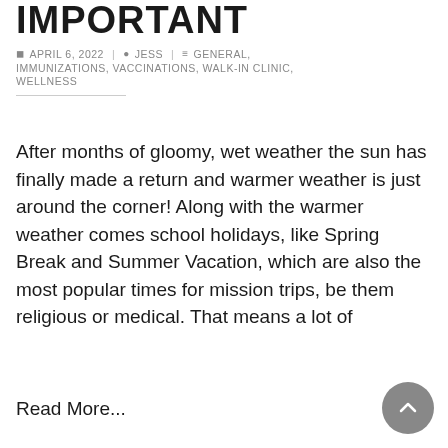IMPORTANT
APRIL 6, 2022 | JESS | GENERAL, IMMUNIZATIONS, VACCINATIONS, WALK-IN CLINIC, WELLNESS
After months of gloomy, wet weather the sun has finally made a return and warmer weather is just around the corner! Along with the warmer weather comes school holidays, like Spring Break and Summer Vacation, which are also the most popular times for mission trips, be them religious or medical. That means a lot of
Read More...